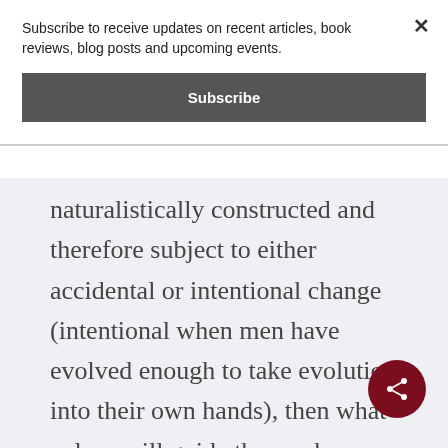Subscribe to receive updates on recent articles, book reviews, blog posts and upcoming events.
Subscribe
naturalistically constructed and therefore subject to either accidental or intentional change (intentional when men have evolved enough to take evolution into their own hands), then what values will guide those who are involved in intentionally (re)making the change? They may hold to the“traditional” values (what